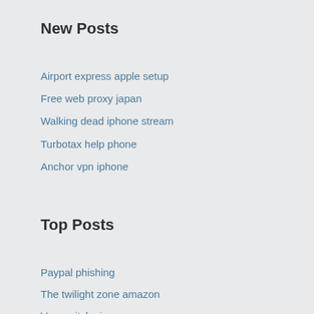New Posts
Airport express apple setup
Free web proxy japan
Walking dead iphone stream
Turbotax help phone
Anchor vpn iphone
Top Posts
Paypal phishing
The twilight zone amazon
Vpn switch cisco